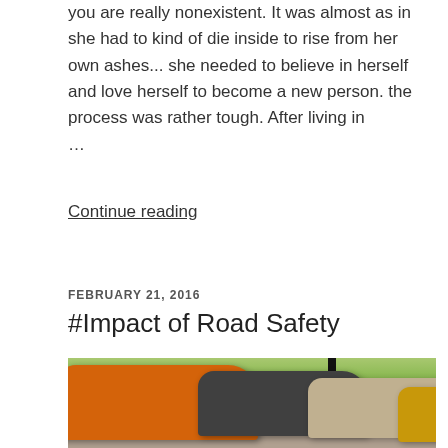you are really nonexistent. It was almost as in she had to kind of die inside to rise from her own ashes... she needed to believe in herself and love herself to become a new person. the process was rather tough. After living in ...
Continue reading
FEBRUARY 21, 2016
#Impact of Road Safety
[Figure (photo): A row of cars (orange, dark, silver, gold) parked in front of lush green trees, with two black promotional flags/banners visible between the cars. An outdoor event scene.]